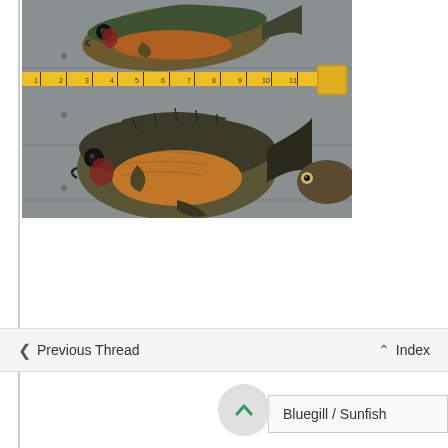[Figure (photo): Photo of two bluegill/sunfish laid out on a flat grey surface with a yellow measuring tape running horizontally between them. A third smaller fish is partially visible at the right edge. The top fish is smaller and lighter in color. The bottom fish is larger and rounder.]
< Previous Thread
^ Index
Hop To   Bluegill / Sunfish